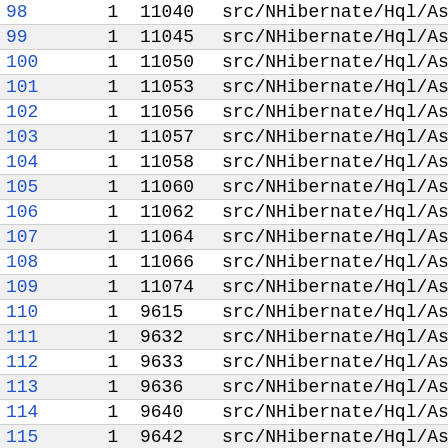| # | 1 | id | path |
| --- | --- | --- | --- |
| 98 | 1 | 11040 | src/NHibernate/Hql/Ast/ANTLR |
| 99 | 1 | 11045 | src/NHibernate/Hql/Ast/ANTLR |
| 100 | 1 | 11050 | src/NHibernate/Hql/Ast/ANTLR |
| 101 | 1 | 11053 | src/NHibernate/Hql/Ast/ANTLR |
| 102 | 1 | 11056 | src/NHibernate/Hql/Ast/ANTLR |
| 103 | 1 | 11057 | src/NHibernate/Hql/Ast/ANTLR |
| 104 | 1 | 11058 | src/NHibernate/Hql/Ast/ANTLR |
| 105 | 1 | 11060 | src/NHibernate/Hql/Ast/ANTLR |
| 106 | 1 | 11062 | src/NHibernate/Hql/Ast/ANTLR |
| 107 | 1 | 11064 | src/NHibernate/Hql/Ast/ANTLR |
| 108 | 1 | 11066 | src/NHibernate/Hql/Ast/ANTLR |
| 109 | 1 | 11074 | src/NHibernate/Hql/Ast/ANTLR |
| 110 | 1 | 9615 | src/NHibernate/Hql/Ast/ANTLR |
| 111 | 1 | 9632 | src/NHibernate/Hql/Ast/ANTLR |
| 112 | 1 | 9633 | src/NHibernate/Hql/Ast/ANTLR |
| 113 | 1 | 9636 | src/NHibernate/Hql/Ast/ANTLR |
| 114 | 1 | 9640 | src/NHibernate/Hql/Ast/ANTLR |
| 115 | 1 | 9642 | src/NHibernate/Hql/Ast/ANTLR |
| 116 | 1 | 9643 | src/NHibernate/Hql/Ast/ANTLR |
| 117 | 1 | 9660 | src/NHibernate/Hql/Ast/ANTLR |
| 118 | 1 | 9664 | src/NHibernate/Hql/Ast/ANTLR |
| 119 | 1 | 9665 | src/NHibernate/Hql/Ast/ANTLR |
| 1?? | 1 | ???? | src/NHibernate/Hql/Ast/ANTLR |